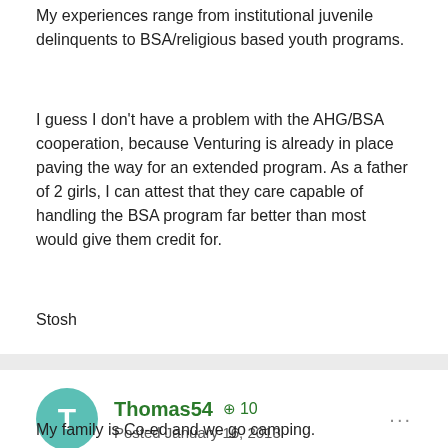My experiences range from institutional juvenile delinquents to BSA/religious based youth programs.
I guess I don't have a problem with the AHG/BSA cooperation, because Venturing is already in place paving the way for an extended program. As a father of 2 girls, I can attest that they care capable of handling the BSA program far better than most would give them credit for.
Stosh
Thomas54  +10
Posted January 16, 2013
My family is Co-ed and we go camping.